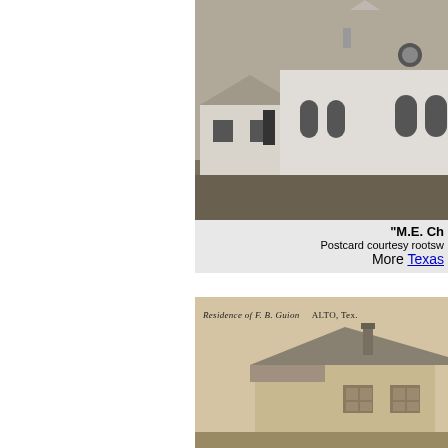[Figure (photo): Black and white historical photograph of a white church building (M.E. Church) with arched windows and peaked roof, partially cropped on right side]
"M.E. Ch...
Postcard courtesy rootsw...
More Texas ...
[Figure (photo): Black and white historical postcard photograph of the Residence of F.B. Guion, Alto, Texas, showing a house with a prominent roof]